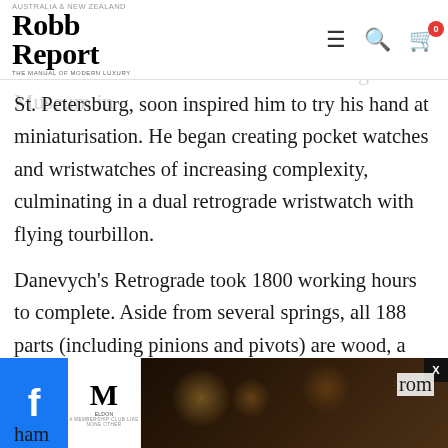Robb Report Australia & New Zealand — THE MANUAL OF MODERN LUXURY
gears with a saw. The Bronnikov watches, some of which are on view in the State Hermitage Museum in St. Petersburg, soon inspired him to try his hand at miniaturisation. He began creating pocket watches and wristwatches of increasing complexity, culminating in a dual retrograde wristwatch with flying tourbillon.
Danevych's Retrograde took 1800 working hours to complete. Aside from several springs, all 188 parts (including pinions and pivots) are wood, a feat he achieved by taking advantage of the distinct
[Figure (other): Advertisement banner at bottom: Facebook icon (blue), M luxury club logo (white background), venue interior photo (dark), X close button, partially visible text 'rom' and 'ham' on right and left sides.]